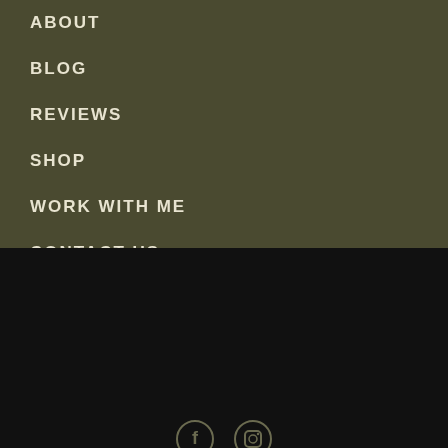ABOUT
BLOG
REVIEWS
SHOP
WORK WITH ME
CONTACT US
ORDER LABS
Account
We are using cookies to provide statistics that help us give you the best experience of our site.
MORE INFO
ACCEPT